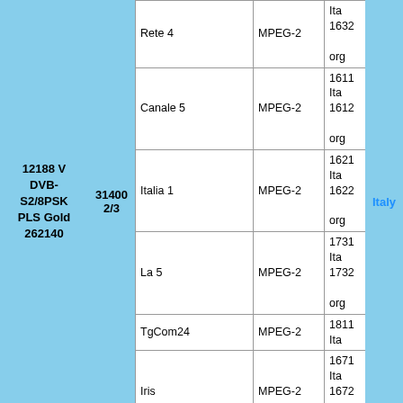| Channel | Codec | PIDs |  |
| --- | --- | --- | --- |
| Rete 4 | MPEG-2 | Ita
1632
org |  |
| Canale 5 | MPEG-2 | 1611
Ita
1612
org |  |
| Italia 1 | MPEG-2 | 1621
Ita
1622
org |  |
| La 5 | MPEG-2 | 1731
Ita
1732
org |  |
| TgCom24 | MPEG-2 | 1811
Ita |  |
| Iris | MPEG-2 | 1671
Ita
1672
org |  |
| Test HEVC Main10 | HEVC |  |  |
| Stream 2 - Mediaset 4   272-940 |  |  |  |
|  |  | 1631 |  |
12188 V DVB-S2/8PSK PLS Gold 262140
31400 2/3
Italy